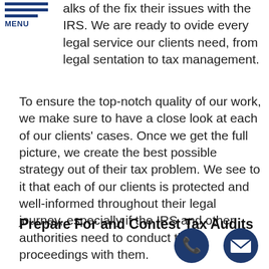MENU
alks of the fix their issues with the IRS. We are ready to ovide every legal service our clients need, from legal representation to tax management.
To ensure the top-notch quality of our work, we make sure to have a close look at each of our clients' cases. Once we get the full picture, we create the best possible strategy out of their tax problem. We see to it that each of our clients is protected and well-informed throughout their legal journey, especially if the IRS and other authorities need to conduct their proceedings with them.
Prepare For and Contest Tax Audits
[Figure (illustration): Phone icon - dark blue circle with white telephone handset symbol]
[Figure (illustration): Email icon - dark blue circle with white envelope symbol]